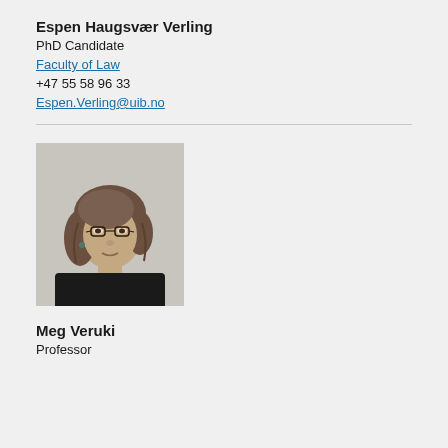Espen Haugsvær Verling
PhD Candidate
Faculty of Law
+47 55 58 96 33
Espen.Verling@uib.no
[Figure (photo): Portrait photo of Meg Veruki, a woman with shoulder-length brown hair and glasses, wearing a black top, photographed against a light gray background.]
Meg Veruki
Professor